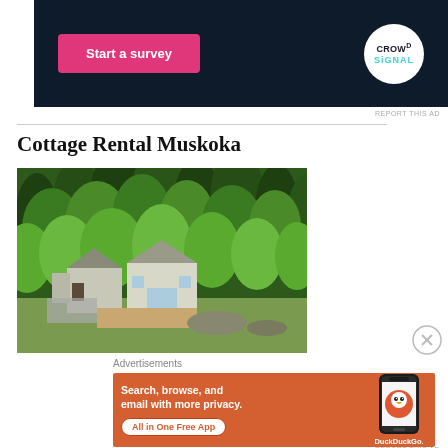[Figure (other): Dark navy advertisement banner with pink 'Start a survey' button on the left and Crowdsignal circular logo on the right]
REPORT THIS AD
Cottage Rental Muskoka
[Figure (photo): Aerial photo of a cottage property surrounded by dense green trees in Muskoka, with white buildings and a deck visible]
Advertisements
[Figure (other): Orange DuckDuckGo advertisement: 'Search, browse, and email with more privacy. All in One Free App' with a smartphone showing DuckDuckGo app]
REPORT THIS AD